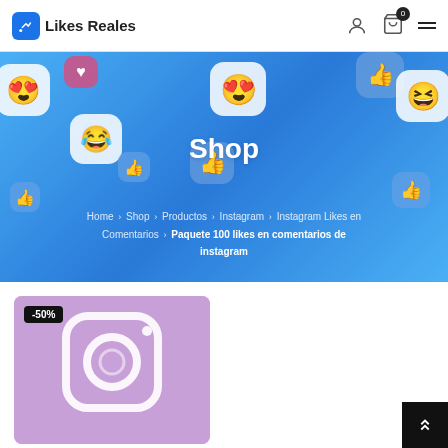Likes Reales
[Figure (screenshot): Hero banner with blue gradient background, emoji reaction icons (heart eyes, laughing, thumbs up), large 'Shop' title in white, and breadcrumb navigation showing: Home > Shop > Productos > Instagram > Instagram Likes en Comentarios > Paquete 100 likes en comentarios de instagram]
[Figure (photo): Product image with purple/lavender background showing Instagram camera icon logo, with a -50% discount badge in the top left corner]